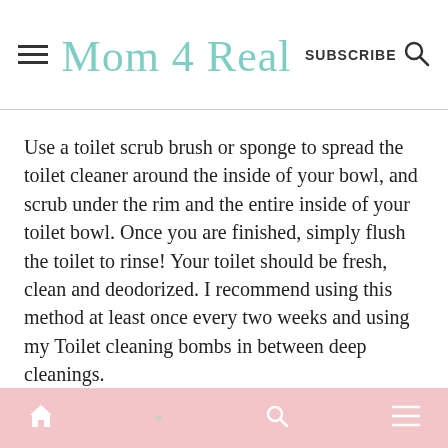Mom 4 Real | SUBSCRIBE
Use a toilet scrub brush or sponge to spread the toilet cleaner around the inside of your bowl, and scrub under the rim and the entire inside of your toilet bowl. Once you are finished, simply flush the toilet to rinse! Your toilet should be fresh, clean and deodorized. I recommend using this method at least once every two weeks and using my Toilet cleaning bombs in between deep cleanings.
Home | Search | Menu